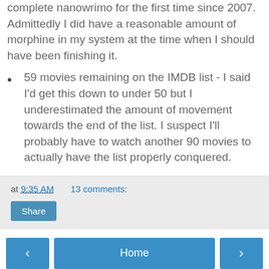complete nanowrimo for the first time since 2007. Admittedly I did have a reasonable amount of morphine in my system at the time when I should have been finishing it.
59 movies remaining on the IMDB list - I said I'd get this down to under 50 but I underestimated the amount of movement towards the end of the list. I suspect I'll probably have to watch another 90 movies to actually have the list properly conquered.
at 9:35 AM   13 comments:
Share
Home
View web version